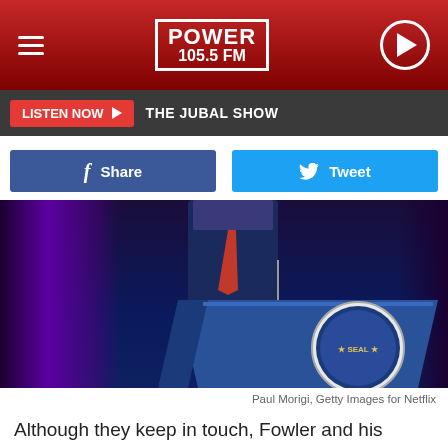POWER 105.5 FM
LISTEN NOW ▶  THE JUBAL SHOW
f Share   Tweet
[Figure (photo): Presidential podium with seal, blue curtains in background]
Paul Morigi, Getty Images for Netflix
Although they keep in touch, Fowler and his famous brother aren't exactly close.  In fact, he's been wanting to release a tell all book about their abusive father and the extent he and